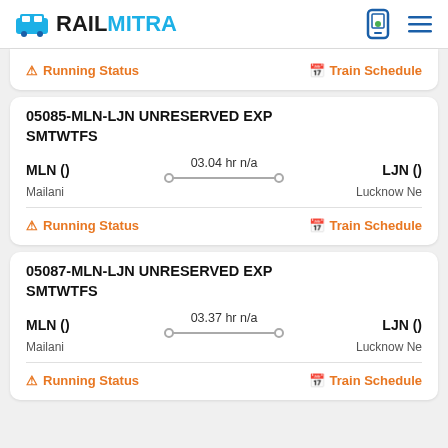RAILMITRA
Running Status | Train Schedule
05085-MLN-LJN UNRESERVED EXP SMTWTFS
MLN () — 03.04 hr n/a — LJN ()
Mailani — Lucknow Ne
Running Status | Train Schedule
05087-MLN-LJN UNRESERVED EXP SMTWTFS
MLN () — 03.37 hr n/a — LJN ()
Mailani — Lucknow Ne
Running Status | Train Schedule